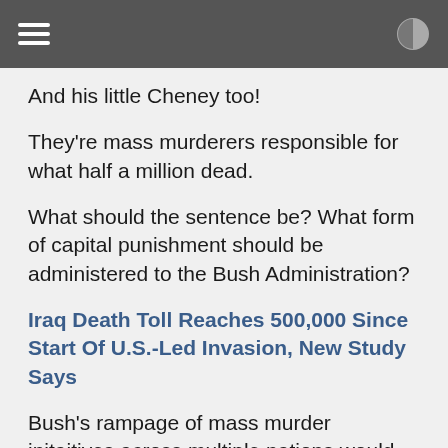[hamburger menu] [contrast toggle]
And his little Cheney too!
They're mass murderers responsible for what half a million dead.
What should the sentence be? What form of capital punishment should be administered to the Bush Administration?
Iraq Death Toll Reaches 500,000 Since Start Of U.S.-Led Invasion, New Study Says
Bush's rampage of mass murder initaitives across multiple nations would technically be a singular 'streak', that is they amounted to one single spree given the lack of 'emotional cool down periods' (breaks between active body counts) between events.
In the case of Cheney he is a "Serial Mass Murderer" since he had his hands in multiple mass murder 'spree' events over a period of many decades.